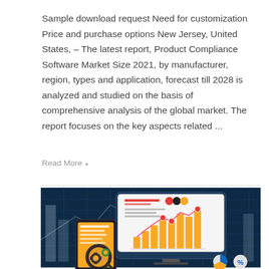Sample download request Need for customization Price and purchase options New Jersey, United States, – The latest report, Product Compliance Software Market Size 2021, by manufacturer, region, types and application, forecast till 2028 is analyzed and studied on the basis of comprehensive analysis of the global market. The report focuses on the key aspects related ...
Read More
[Figure (infographic): Business analytics dashboard illustration showing a computer monitor with bar charts (yellow/gold bars) and a line chart with red/pink dots, a smartphone with document and magnifying glass with gears, and pie chart icons at the bottom, on a dark blue background with grid lines]